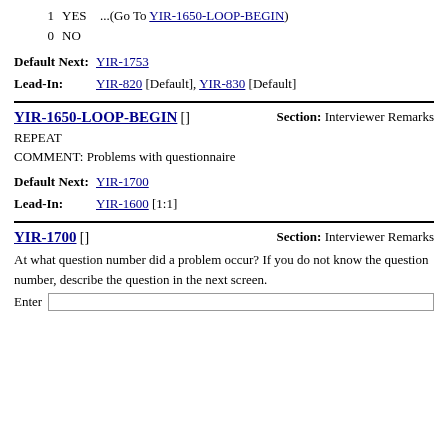1   YES   ...(Go To YIR-1650-LOOP-BEGIN)
0   NO
Default Next: YIR-1753
Lead-In: YIR-820 [Default], YIR-830 [Default]
YIR-1650-LOOP-BEGIN []    Section: Interviewer Remarks
REPEAT
COMMENT: Problems with questionnaire
Default Next: YIR-1700
Lead-In: YIR-1600 [1:1]
YIR-1700 []    Section: Interviewer Remarks
At what question number did a problem occur? If you do not know the question number, describe the question in the next screen.
Enter